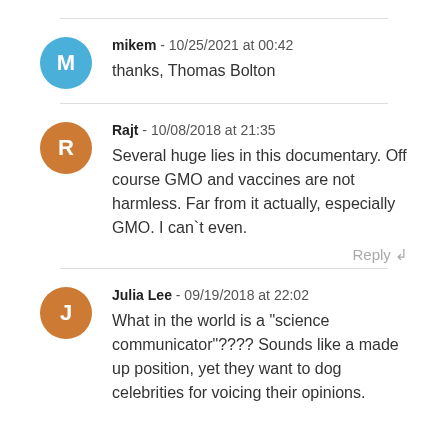mikem - 10/25/2021 at 00:42
thanks, Thomas Bolton
Rajt - 10/08/2018 at 21:35
Several huge lies in this documentary. Off course GMO and vaccines are not harmless. Far from it actually, especially GMO. I can`t even.
Julia Lee - 09/19/2018 at 22:02
What in the world is a "science communicator"???? Sounds like a made up position, yet they want to dog celebrities for voicing their opinions.